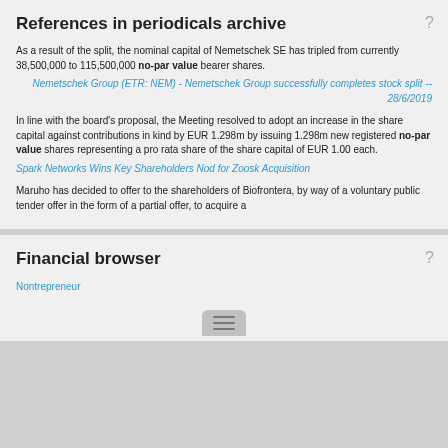References in periodicals archive
As a result of the split, the nominal capital of Nemetschek SE has tripled from currently 38,500,000 to 115,500,000 no-par value bearer shares.
Nemetschek Group (ETR: NEM) - Nemetschek Group successfully completes stock split -- 28/6/2019
In line with the board's proposal, the Meeting resolved to adopt an increase in the share capital against contributions in kind by EUR 1.298m by issuing 1.298m new registered no-par value shares representing a pro rata share of the share capital of EUR 1.00 each.
Spark Networks Wins Key Shareholders Nod for Zoosk Acquisition
Maruho has decided to offer to the shareholders of Biofrontera, by way of a voluntary public tender offer in the form of a partial offer, to acquire a
Financial browser
Nontrepreneur